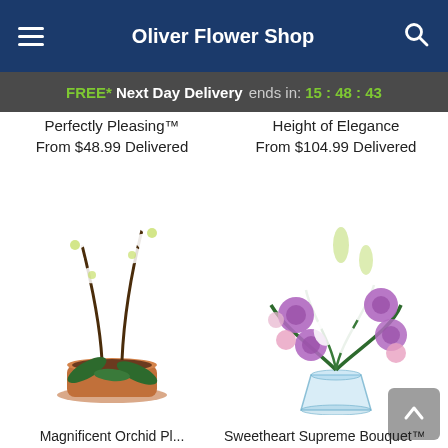Oliver Flower Shop
FREE* Next Day Delivery ends in: 15:48:43
Perfectly Pleasing™
From $48.99 Delivered
Height of Elegance
From $104.99 Delivered
[Figure (photo): White phalaenopsis orchid plant in a terracotta pot with two stems of blooms]
[Figure (photo): Mixed floral arrangement with purple roses, white lilies, and pink flowers in a glass vase]
Magnificent Orchid Pl...
Sweetheart Supreme Bouquet™...